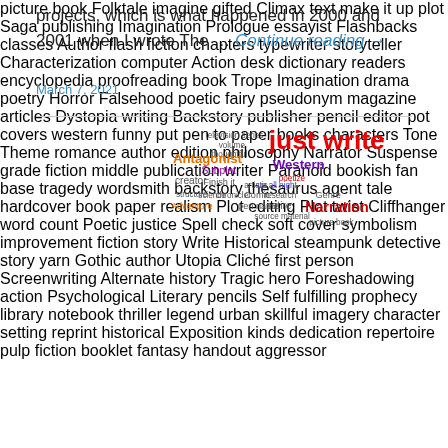projects, which is what happened in 2000 and 2001 when I wrote The … Continue reading →
March 7, 2021
[Figure (illustration): Word cloud related to writing and literature, featuring words like 'just write', 'author', 'writer', 'Symbolism', 'encyclopedia', 'fiction', 'story', 'Climax', 'Narration', 'poetry', 'Backstory', 'pseudonym', 'characters', 'tragedy', 'word count', 'pulp fiction', 'historical', 'reprint', 'setting', and many more writing-related terms in various colors and sizes.]